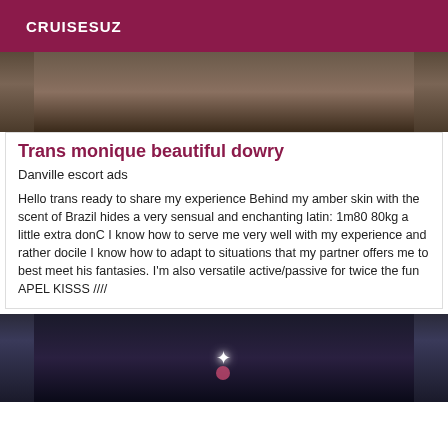CRUISESUZ
[Figure (photo): Partial photo at top of card, dark blurred background]
Trans monique beautiful dowry
Danville escort ads
Hello trans ready to share my experience Behind my amber skin with the scent of Brazil hides a very sensual and enchanting latin: 1m80 80kg a little extra donC I know how to serve me very well with my experience and rather docile I know how to adapt to situations that my partner offers me to best meet his fantasies. I'm also versatile active/passive for twice the fun APEL KISSS ////
[Figure (photo): Dark silhouette photo at bottom, figure with sparkle effects]